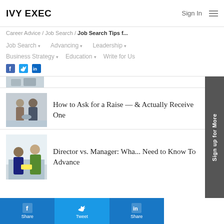IVY EXEC  Sign In
Career Advice / Job Search / Job Search Tips f...
Job Search ▾   Advancing ▾   Leadership ▾   Business Strategy ▾   Education ▾   Write for Us
[Figure (other): Social media icons: Facebook, Twitter, LinkedIn]
[Figure (photo): Partial image of article at top]
How to Ask for a Raise — Actually Receive One
[Figure (photo): Two men in business attire shaking hands in an office]
Director vs. Manager: Wha... Need to Know To Advance
[Figure (photo): Two women in an office setting]
Share   Tweet   Share